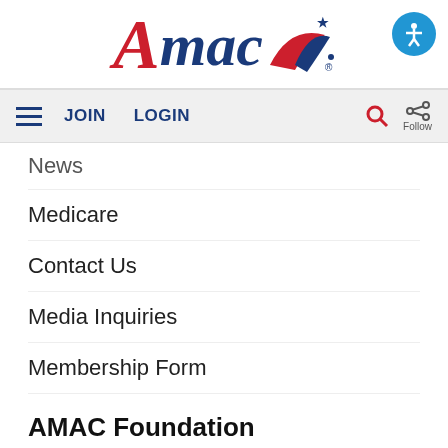[Figure (logo): AMAC logo with red italic A, blue italic mac, flag swoosh, blue star, and registered trademark symbol]
≡  JOIN  LOGIN  🔍  Share Follow
News
Medicare
Contact Us
Media Inquiries
Membership Form
AMAC Foundation
Overview
Donate